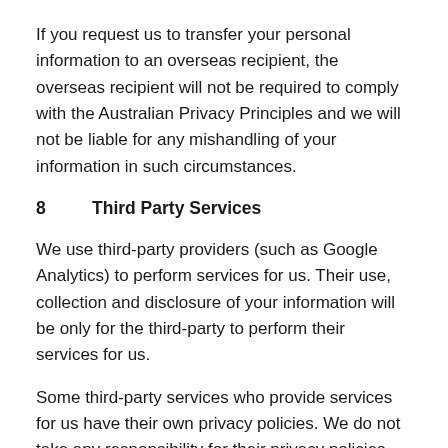If you request us to transfer your personal information to an overseas recipient, the overseas recipient will not be required to comply with the Australian Privacy Principles and we will not be liable for any mishandling of your information in such circumstances.
8      Third Party Services
We use third-party providers (such as Google Analytics) to perform services for us. Their use, collection and disclosure of your information will be only for the third-party to perform their services for us.
Some third-party services who provide services for us have their own privacy policies. We do not take any responsibility for their privacy policies. Further, some providers we engage from time to time may be located in differing jurisdictions. These jurisdictions may have different privacy laws which your information may